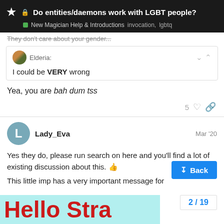Do entities/daemons work with LGBT people? — New Magician Help & Introductions — invocation, lgbtq
They don't care about your gender...
Elderia: I could be VERY wrong
Yea, you are bah dum tss
Lady_Eva — Mar '20
Yes they do, please run search on here and you'll find a lot of existing discussion about this. 👍
This little imp has a very important message for...
[Figure (screenshot): Bottom of image showing 'Hello Stra...' text in large red bold letters on cyan/light blue background]
2 / 19